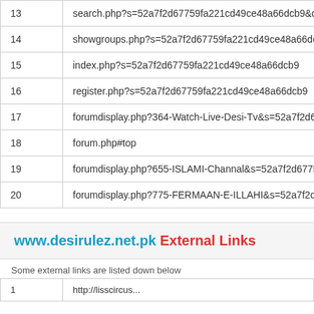| # | URL |
| --- | --- |
| 13 | search.php?s=52a7f2d67759fa221cd49ce48a66dcb9&do= |
| 14 | showgroups.php?s=52a7f2d67759fa221cd49ce48a66dcb |
| 15 | index.php?s=52a7f2d67759fa221cd49ce48a66dcb9 |
| 16 | register.php?s=52a7f2d67759fa221cd49ce48a66dcb9 |
| 17 | forumdisplay.php?364-Watch-Live-Desi-Tv&s=52a7f2d67 |
| 18 | forum.php#top |
| 19 | forumdisplay.php?655-ISLAMI-Channal&s=52a7f2d67759 |
| 20 | forumdisplay.php?775-FERMAAN-E-ILLAHI&s=52a7f2d67 |
www.desirulez.net.pk External Links
Some external links are listed down below
| # | URL |
| --- | --- |
| 1 | http://lisscircus... |